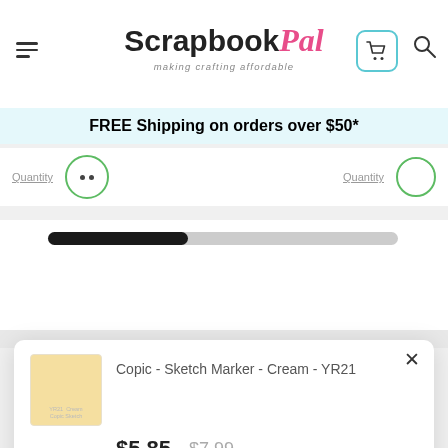[Figure (logo): ScrapbookPal logo with hamburger menu, cart icon and search icon in header]
FREE Shipping on orders over $50*
Quantity
[Figure (other): Progress/scroll bar - partially filled black bar on gray track]
[Figure (screenshot): Modal popup showing Copic Sketch Marker Cream YR21 product with price $5.85 (was $7.99), quantity selector and add to cart button]
Copic - Sketch Marker - Cream - YR21
$5.85  $7.99
1  Quantity